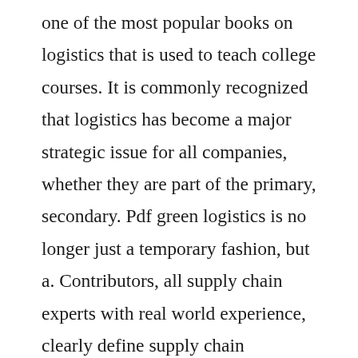one of the most popular books on logistics that is used to teach college courses. It is commonly recognized that logistics has become a major strategic issue for all companies, whether they are part of the primary, secondary. Pdf green logistics is no longer just a temporary fashion, but a. Contributors, all supply chain experts with real world experience, clearly define supply chain management, identify those factors that contribute to effective supply chain management, and suggest how the adoption of